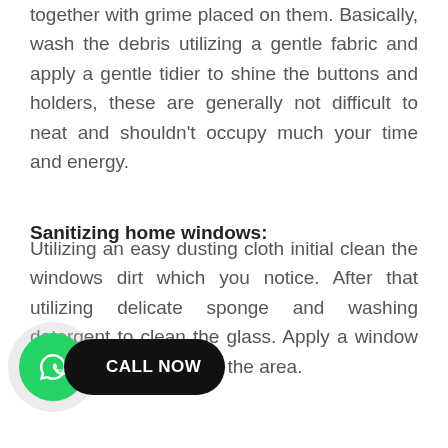together with grime placed on them. Basically, wash the debris utilizing a gentle fabric and apply a gentle tidier to shine the buttons and holders, these are generally not difficult to neat and shouldn't occupy much your time and energy.
Sanitizing home windows:
Utilizing an easy dusting cloth initial clean the windows dirt which you notice. After that utilizing delicate sponge and washing detergent to clean the glass. Apply a window [squeegee] to eliminate water from the area.